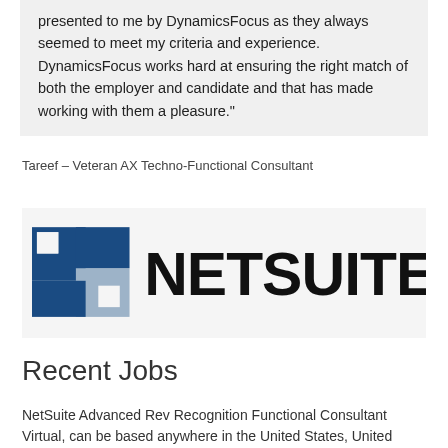presented to me by DynamicsFocus as they always seemed to meet my criteria and experience. DynamicsFocus works hard at ensuring the right match of both the employer and candidate and that has made working with them a pleasure."
Tareef – Veteran AX Techno-Functional Consultant
[Figure (logo): NetSuite logo — stylized N1 icon in blue and grey, with NETSUITE text in large bold black letters]
Recent Jobs
NetSuite Advanced Rev Recognition Functional Consultant
Virtual, can be based anywhere in the United States, United